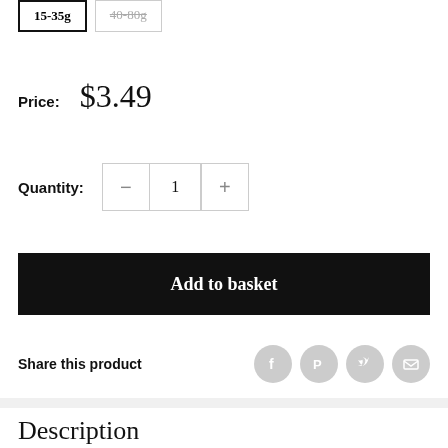15-35g (selected), 40-80g (unavailable/strikethrough)
Price: $3.49
Quantity: 1
Add to basket
Share this product
Description